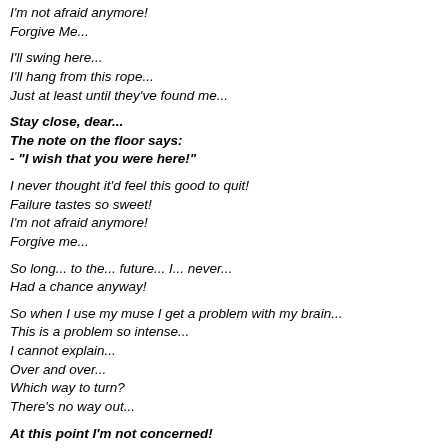I'm not afraid anymore!
Forgive Me...
I'll swing here...
I'll hang from this rope...
Just at least until they've found me...
Stay close, dear...
The note on the floor says:
- "I wish that you were here!"
I never thought it'd feel this good to quit!
Failure tastes so sweet!
I'm not afraid anymore!
Forgive me...
So long... to the... future... I... never...
Had a chance anyway!
So when I use my muse I get a problem with my brain...
This is a problem so intense...
I cannot explain...
Over and over...
Which way to turn?
There's no way out...
At this point I'm not concerned!
I never thought it'd feel this good to quit!
Failure tastes so sweet!
I'm not afraid anymore!